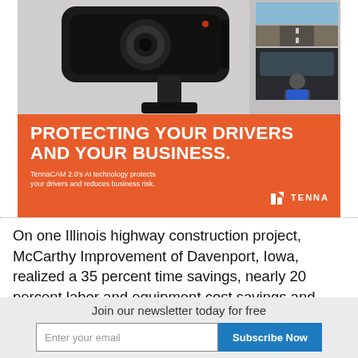[Figure (photo): TennaCAM 2.0 dashboard camera device shown close-up in black and white, with two small inset photos showing a highway road view and a truck driver in cab interior.]
PROTECTING YOUR DRIVERS AND YOUR BUSINESS. TennaCAM 2.0's AI technology protects your drivers and reduces business risk. TENNA
On one Illinois highway construction project, McCarthy Improvement of Davenport, Iowa, realized a 35 percent time savings, nearly 20 percent labor and equipment cost savings and approximately 30
Join our newsletter today for free
Enter your email  Subscribe Now